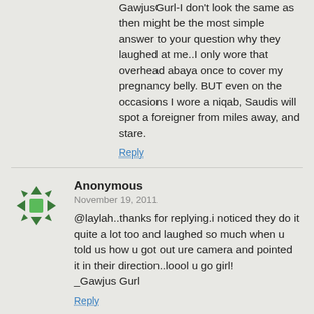GawjusGurl-I don't look the same as then might be the most simple answer to your question why they laughed at me..I only wore that overhead abaya once to cover my pregnancy belly. BUT even on the occasions I wore a niqab, Saudis will spot a foreigner from miles away, and stare.
Reply
Anonymous
November 19, 2011
@laylah..thanks for replying.i noticed they do it quite a lot too and laughed so much when u told us how u got out ure camera and pointed it in their direction..loool u go girl!
_Gawjus Gurl
Reply
Laylah
November 20, 2011
Ms Rosenstare-I don't cover my face but as I said on